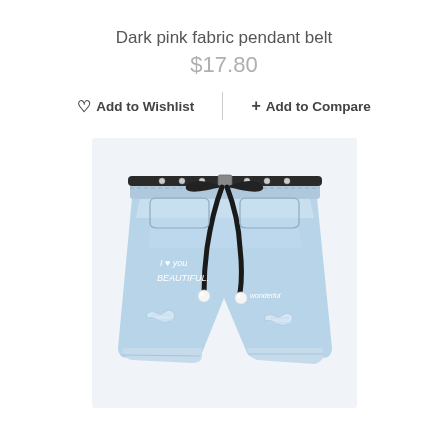Dark pink fabric pendant belt
$17.80
♡  Add to Wishlist
+ Add to Compare
[Figure (photo): Light blue distressed denim shorts with a black fabric pendant belt featuring silver chain details and pearl pendants. The shorts have ripped holes at the front and text embroidery reading 'I love you BEAUTIFUL' on the left leg.]